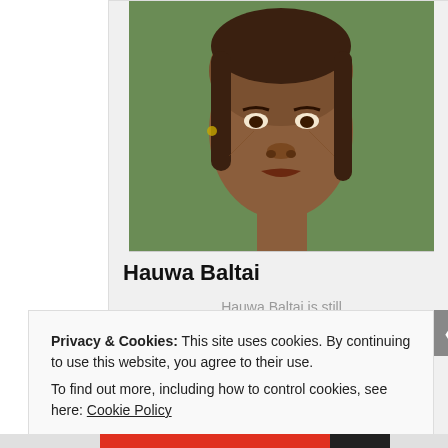[Figure (photo): Portrait photo of Hauwa Baltai, a young woman, cropped at shoulders, facing forward]
Hauwa Baltai
Hauwa Baltai is still in Boko Haram captivity, as of 3/6/18. She is #38 in this photo.
Privacy & Cookies: This site uses cookies. By continuing to use this website, you agree to their use.
To find out more, including how to control cookies, see here: Cookie Policy
Close and accept